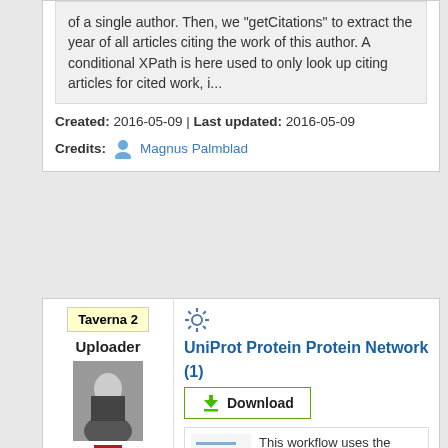of a single author. Then, we "getCitations" to extract the year of all articles citing the work of this author. A conditional XPath is here used to only look up citing articles for cited work, i...
Created: 2016-05-09 | Last updated: 2016-05-09
Credits: Magnus Palmblad
Taverna 2
Uploader
[Figure (photo): Photo of Magnus Palmblad]
[Figure (illustration): Netherlands flag]
Magnus Palmblad
UniProt Protein Protein Network (1)
Download
[Figure (screenshot): Workflow thumbnail preview]
This workflow uses the Europ...